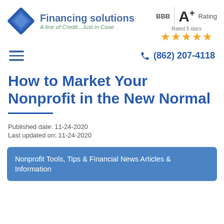Financing solutions - A line of Credit...Just in Case | BBB A+ Rating | Rated 5 stars
(862) 207-4118
How to Market Your Nonprofit in the New Normal
Published date: 11-24-2020
Last updated on: 11-24-2020
Nonprofit Tools, Tips & Financial News Articles & Information